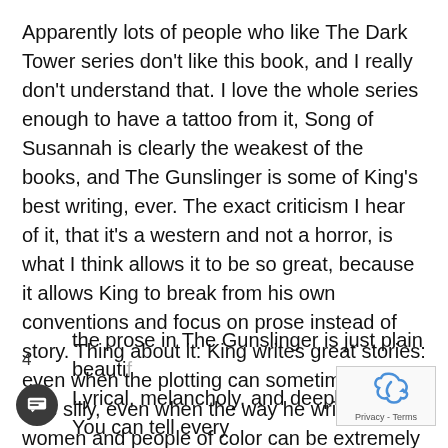Apparently lots of people who like The Dark Tower series don't like this book, and I really don't understand that. I love the whole series enough to have a tattoo from it, Song of Susannah is clearly the weakest of the books, and The Gunslinger is some of King's best writing, ever. The exact criticism I hear of it, that it's a western and not a horror, is what I think allows it to be so great, because it allows King to break from his own conventions and focus on prose instead of story. Thing about it: King writes great stories: even when the plotting can sometimes get a little silly, even when the way he writes women and people of color can be extremely cringe-worthy, the stories themselves are propulsive and make his books hard to put down. But I don't think most King fans would say his actual prose is his strongest point.
4
the prose in The Gunslinger is just plain beauti… Lyrical, melancholy, and deeply sad. You can tell every